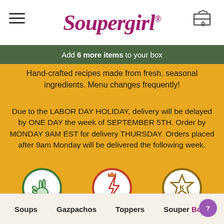[Figure (logo): Soupergirl logo in cursive magenta/purple script with registered trademark symbol]
Add 6 more items to your box
Hand-crafted recipes made from fresh, seasonal ingredients. Menu changes frequently!
Due to the LABOR DAY HOLIDAY, delivery will be delayed by ONE DAY the week of SEPTEMBER 5TH. Order by MONDAY 9AM EST for delivery THURSDAY. Orders placed after 9am Monday will be delivered the following week.
[Figure (illustration): Three icons in circles: VEGAN (peace hand sign), MADE FRESH (lightning bolt with crown), KOSHER (star with K)]
Soups   Gazpachos   Toppers   Souper Bowls